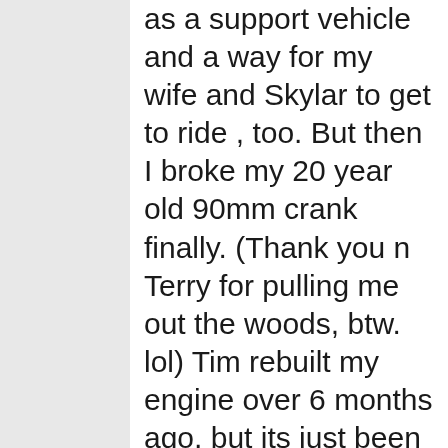as a support vehicle and a way for my wife and Skylar to get to ride , too. But then I broke my 20 year old 90mm crank finally. (Thank you n Terry for pulling me out the woods, btw. lol) Tim rebuilt my engine over 6 months ago, but its just been easier to throw the rzr on the trailer and go ride every other weekend than spend the weekend fixing my buggy cuz I wanna do some other changes while its down.